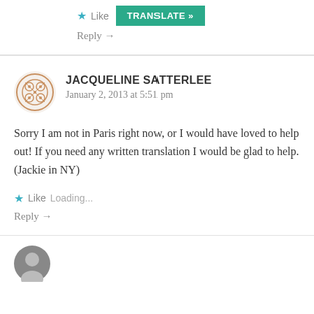Like Loading...
Reply →
JACQUELINE SATTERLEE
January 2, 2013 at 5:51 pm
Sorry I am not in Paris right now, or I would have loved to help out! If you need any written translation I would be glad to help. (Jackie in NY)
Like Loading...
Reply →